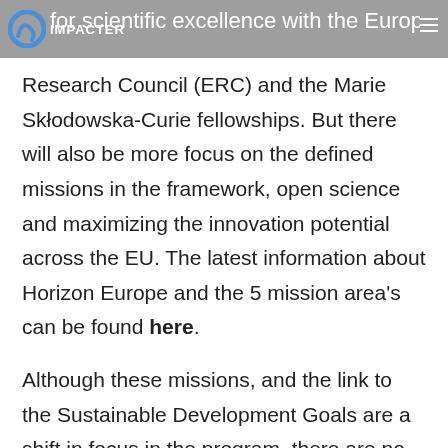IMPACTER — for scientific excellence with the European Research Council (ERC) and the Marie Skłodowska-Curie fellowships.
Research Council (ERC) and the Marie Skłodowska-Curie fellowships. But there will also be more focus on the defined missions in the framework, open science and maximizing the innovation potential across the EU. The latest information about Horizon Europe and the 5 mission area's can be found here.
Although these missions, and the link to the Sustainable Development Goals are a shift in focus in the program, there are no